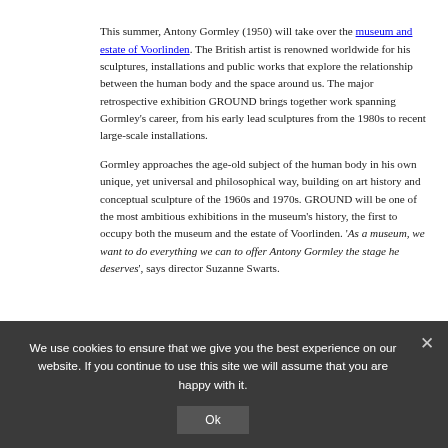This summer, Antony Gormley (1950) will take over the museum and estate of Voorlinden. The British artist is renowned worldwide for his sculptures, installations and public works that explore the relationship between the human body and the space around us. The major retrospective exhibition GROUND brings together work spanning Gormley's career, from his early lead sculptures from the 1980s to recent large-scale installations.
Gormley approaches the age-old subject of the human body in his own unique, yet universal and philosophical way, building on art history and conceptual sculpture of the 1960s and 1970s. GROUND will be one of the most ambitious exhibitions in the museum's history, the first to occupy both the museum and the estate of Voorlinden. 'As a museum, we want to do everything we can to offer Antony Gormley the stage he deserves', says director Suzanne Swarts.
Antony Gormley: 'Sculpture is no longer a medium of memorial and idealisation but a context in which human being can be examined.
We use cookies to ensure that we give you the best experience on our website. If you continue to use this site we will assume that you are happy with it.